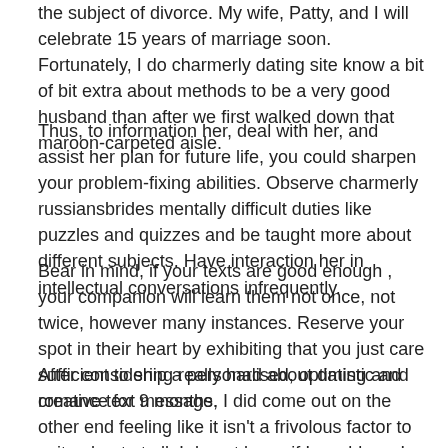the subject of divorce. My wife, Patty, and I will celebrate 15 years of marriage soon. Fortunately, I do charmerly dating site know a bit of bit extra about methods to be a very good husband than after we first walked down that maroon-carpeted aisle.
Thus, to information her, deal with her, and assist her plan for future life, you could sharpen your problem-fixing abilities. Observe charmerly russiansbrides mentally difficult duties like puzzles and quizzes and be taught more about different subjects. Have interaction her in intellectual conversations infrequently.
Bear in mind, if your texts are good enough , your companion will learn them not once, not twice, however many instances. Reserve your spot in their heart by exhibiting that you just care sufficient to ship a personalised, optimistic and creative text message.
After considering really hard about dating and romance for 9 months, I did come out on the other end feeling like it isn't a frivolous factor to write about at all. I do not know if I would say I really feel empowered," as a result of that's change into something I feel like we're presupposed to suppose comes from, like, getting laser facials or some shit. But penning this